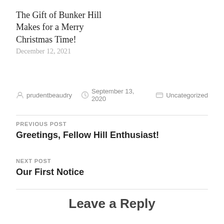The Gift of Bunker Hill Makes for a Merry Christmas Time!
December 12, 2021
prudentbeaudry   September 13, 2020   Uncategorized
PREVIOUS POST
Greetings, Fellow Hill Enthusiast!
NEXT POST
Our First Notice
Leave a Reply